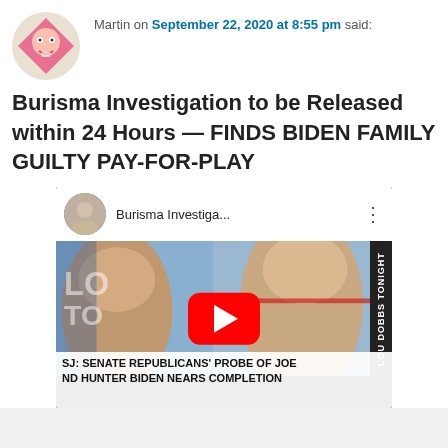Martin on September 22, 2020 at 8:55 pm said:
Burisma Investigation to be Released within 24 Hours — FINDS BIDEN FAMILY GUILTY PAY-FOR-PLAY
[Figure (screenshot): YouTube video thumbnail showing two men on a Fox Business/Lou Dobbs Tonight set. Title bar reads 'Burisma Investiga...' with a red YouTube play button overlay. Bottom caption reads 'SJ: SENATE REPUBLICANS' PROBE OF JOE ND HUNTER BIDEN NEARS COMPLETION']